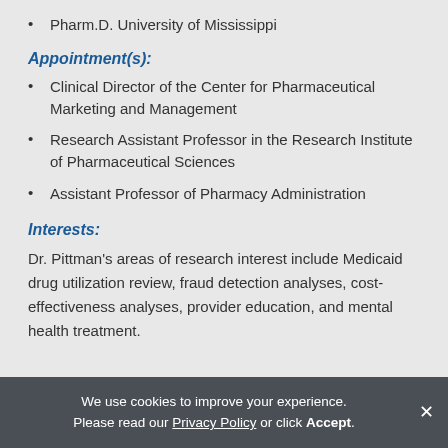Pharm.D. University of Mississippi
Appointment(s):
Clinical Director of the Center for Pharmaceutical Marketing and Management
Research Assistant Professor in the Research Institute of Pharmaceutical Sciences
Assistant Professor of Pharmacy Administration
Interests:
Dr. Pittman’s areas of research interest include Medicaid drug utilization review, fraud detection analyses, cost-effectiveness analyses, provider education, and mental health treatment.
We use cookies to improve your experience. Please read our Privacy Policy or click Accept.